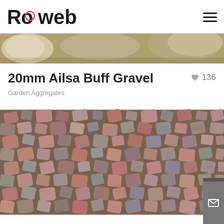Rowebb
[Figure (photo): Close-up photo of natural stone/gravel pieces in buff/tan tones at the top of the page]
20mm Ailsa Buff Gravel
♥ 136
Garden Aggregates
[Figure (photo): Close-up photograph of 20mm Ailsa Buff Gravel showing mixed reddish-brown, grey and buff coloured angular stone pieces]